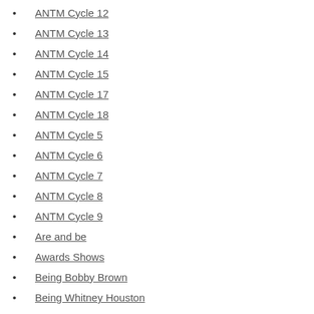ANTM Cycle 12
ANTM Cycle 13
ANTM Cycle 14
ANTM Cycle 15
ANTM Cycle 17
ANTM Cycle 18
ANTM Cycle 5
ANTM Cycle 6
ANTM Cycle 7
ANTM Cycle 8
ANTM Cycle 9
Are and be
Awards Shows
Being Bobby Brown
Being Whitney Houston
Celine Dion
Chunk
Crap Mondays